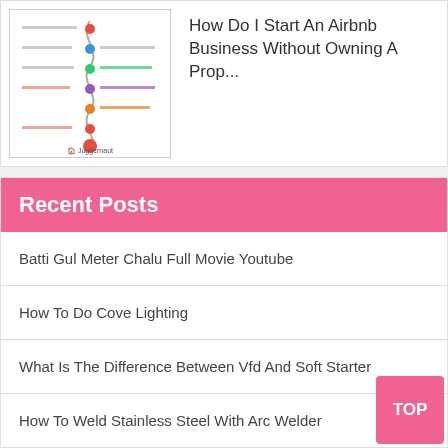[Figure (infographic): Timeline infographic thumbnail showing dates and milestones with colored dots, Juggernaut branding at bottom]
How Do I Start An Airbnb Business Without Owning A Prop...
Recent Posts
Batti Gul Meter Chalu Full Movie Youtube
How To Do Cove Lighting
What Is The Difference Between Vfd And Soft Starter
How To Weld Stainless Steel With Arc Welder
How Do I Start An Airbnb Business Without Owning A Property